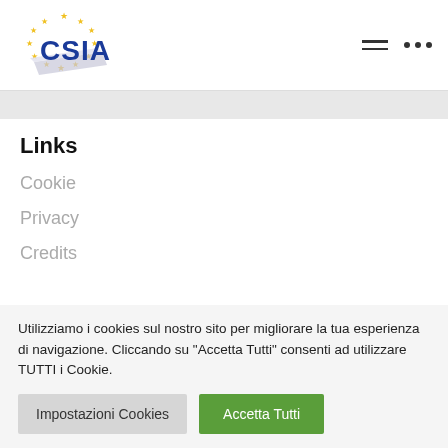[Figure (logo): CSIA logo with blue text and EU stars surrounding it]
Links
Cookie
Privacy
Credits
Utilizziamo i cookies sul nostro sito per migliorare la tua esperienza di navigazione. Cliccando su "Accetta Tutti" consenti ad utilizzare TUTTI i Cookie.
Impostazioni Cookies | Accetta Tutti